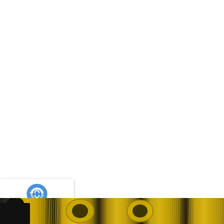[Figure (screenshot): reCAPTCHA privacy badge with blue circular arrow logo and 'Privacy - Terms' text on white rounded card with shadow]
[Figure (photo): Bottom strip of a photo showing gold foil balloon numbers and decorative gold fringe/tinsel curtain backdrop, with dark silhouettes at the bottom left]